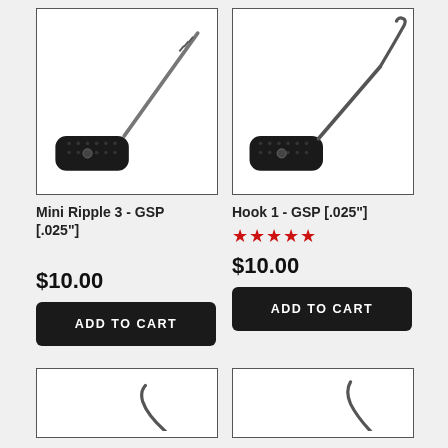[Figure (photo): Lock pick tool - Mini Ripple 3 GSP with black textured handle and thin metal pick blade, photographed on white background]
Mini Ripple 3 - GSP [.025"]
$10.00
ADD TO CART
[Figure (photo): Lock pick tool - Hook 1 GSP with black textured handle and curved hook blade, photographed on white background]
Hook 1 - GSP [.025"]
★★★★★
$10.00
ADD TO CART
[Figure (photo): Lock pick tool partial view - bottom of page, left product]
[Figure (photo): Lock pick tool partial view - bottom of page, right product]